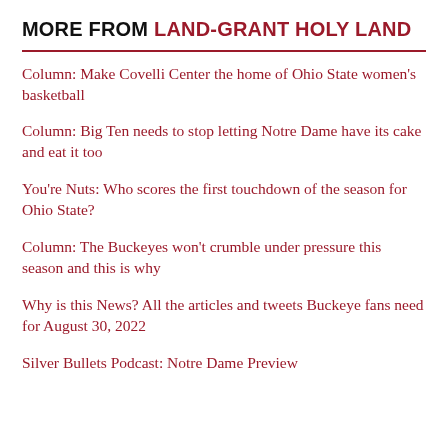MORE FROM LAND-GRANT HOLY LAND
Column: Make Covelli Center the home of Ohio State women's basketball
Column: Big Ten needs to stop letting Notre Dame have its cake and eat it too
You're Nuts: Who scores the first touchdown of the season for Ohio State?
Column: The Buckeyes won't crumble under pressure this season and this is why
Why is this News? All the articles and tweets Buckeye fans need for August 30, 2022
Silver Bullets Podcast: Notre Dame Preview